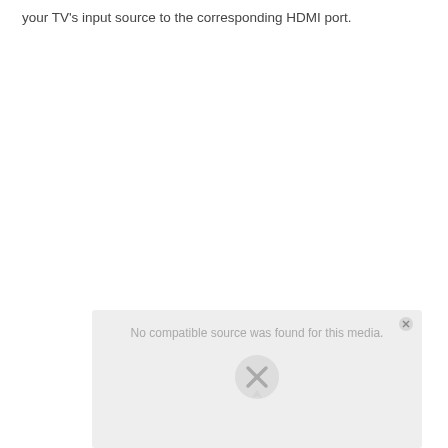your TV's input source to the corresponding HDMI port.
[Figure (screenshot): A video player placeholder showing 'No compatible source was found for this media.' with an X icon and a close button in the top-right corner.]